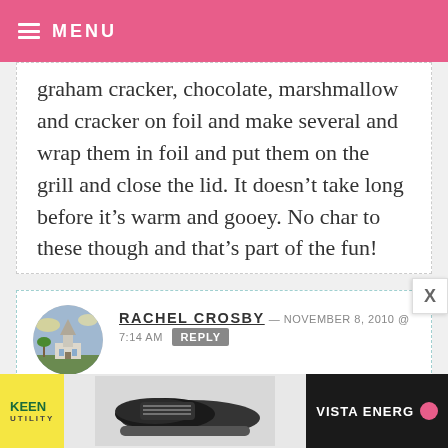MENU
graham cracker, chocolate, marshmallow and cracker on foil and make several and wrap them in foil and put them on the grill and close the lid. It doesn't take long before it's warm and gooey. No char to these though and that's part of the fun!
RACHEL CROSBY — NOVEMBER 8, 2010 @ 7:14 AM REPLY
Hershey's miniature chocolates!
[Figure (other): Advertisement banner showing KEEN Utility work boots/shoes with Vista Energy logo]